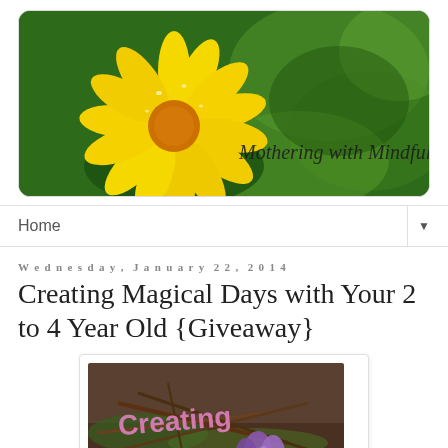[Figure (photo): Blog header image showing a yellow flower (daisy/calendula) with water droplets on the left, blurred green foliage background on the right, with cursive text 'Mothering with Mindfulness' overlaid on the right side]
Home
Wednesday, January 22, 2014
Creating Magical Days with Your 2 to 4 Year Old {Giveaway}
[Figure (photo): Book cover or decorative image with purple crocus flowers and twigs, with stylized text 'Creating' in pink/purple letters overlaid]